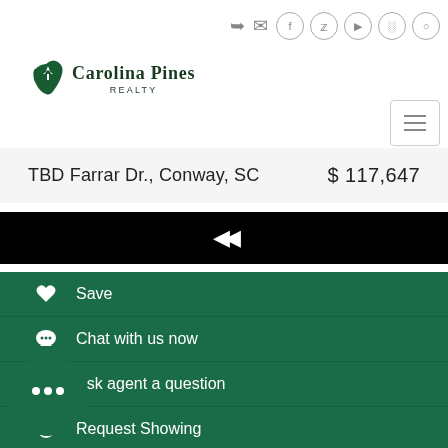Carolina Pines Realty
TBD Farrar Dr., Conway, SC  $ 117,647
Save
Chat with us now
Ask agent a question
Request Showing
Share on Facebook